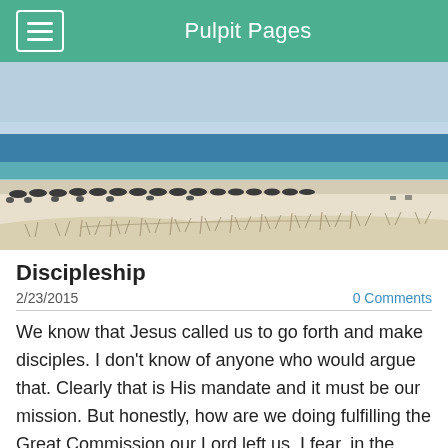Pulpit Pages
[Figure (photo): Aerial view of a beach with white sand, turquoise water, row of beach umbrellas along the waterline, and sand dunes with fence in the foreground]
Discipleship
2/23/2015
0 Comments
We know that Jesus called us to go forth and make disciples. I don't know of anyone who would argue that. Clearly that is His mandate and it must be our mission. But honestly, how are we doing fulfilling the Great Commission our Lord left us. I fear, in the average Baptist church, it has